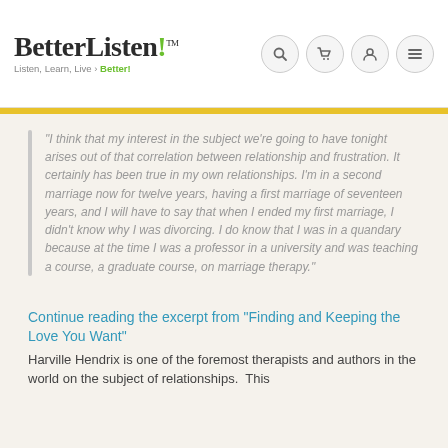BetterListen! TM — Listen, Learn, Live Better!
"I think that my interest in the subject we're going to have tonight arises out of that correlation between relationship and frustration. It certainly has been true in my own relationships. I'm in a second marriage now for twelve years, having a first marriage of seventeen years, and I will have to say that when I ended my first marriage, I didn't know why I was divorcing. I do know that I was in a quandary because at the time I was a professor in a university and was teaching a course, a graduate course, on marriage therapy."
Continue reading the excerpt from "Finding and Keeping the Love You Want"
Harville Hendrix is one of the foremost therapists and authors in the world on the subject of relationships.  This